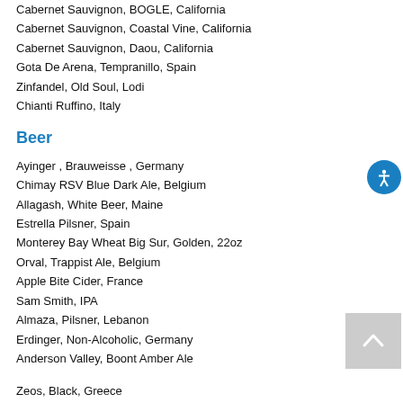Cabernet Sauvignon, BOGLE, California
Cabernet Sauvignon, Coastal Vine, California
Cabernet Sauvignon, Daou, California
Gota De Arena, Tempranillo, Spain
Zinfandel, Old Soul, Lodi
Chianti Ruffino, Italy
Beer
Ayinger , Brauweisse , Germany
Chimay RSV Blue Dark Ale, Belgium
Allagash, White Beer, Maine
Estrella Pilsner, Spain
Monterey Bay Wheat Big Sur, Golden, 22oz
Orval, Trappist Ale, Belgium
Apple Bite Cider, France
Sam Smith, IPA
Almaza, Pilsner, Lebanon
Erdinger, Non-Alcoholic, Germany
Anderson Valley, Boont Amber Ale
Zeos, Black, Greece
***Vintages Subject to Change***